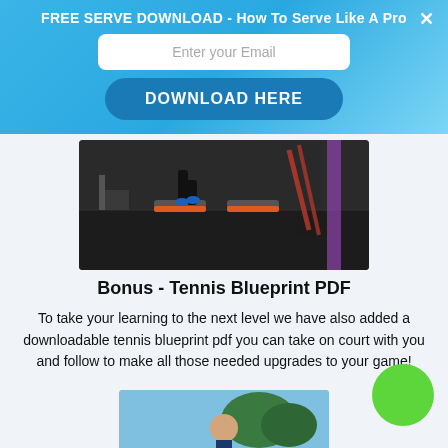FREE SERVE DOWNLOAD - How To Serve Like A Pro
Enter your Email
DOWNLOAD HERE
[Figure (photo): Person doing agility exercise on step platforms in a gym with resistance bands in background]
Bonus - Tennis Blueprint PDF
To take your learning to the next level we have also added a downloadable tennis blueprint pdf you can take on court with you and follow to make all those needed upgrades to your game!
[Figure (photo): Person outdoors, partially visible at bottom of page]